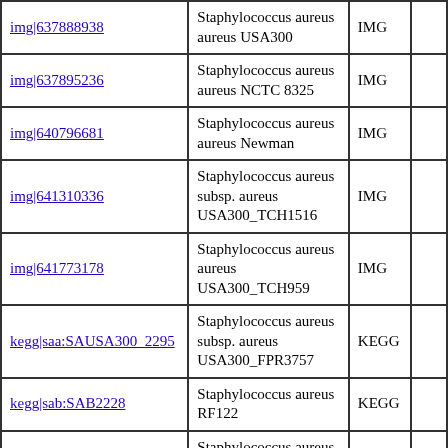| img|637888938 | Staphylococcus aureus aureus USA300 | IMG |  |
| img|637895236 | Staphylococcus aureus aureus NCTC 8325 | IMG |  |
| img|640796681 | Staphylococcus aureus aureus Newman | IMG |  |
| img|641310336 | Staphylococcus aureus subsp. aureus USA300_TCH1516 | IMG |  |
| img|641773178 | Staphylococcus aureus aureus USA300_TCH959 | IMG |  |
| kegg|saa:SAUSA300_2295 | Staphylococcus aureus subsp. aureus USA300_FPR3757 | KEGG |  |
| kegg|sab:SAB2228 | Staphylococcus aureus RF122 | KEGG |  |
| kegg|sac:SACOL2344 | Staphylococcus aureus subsp. | KEGG |  |